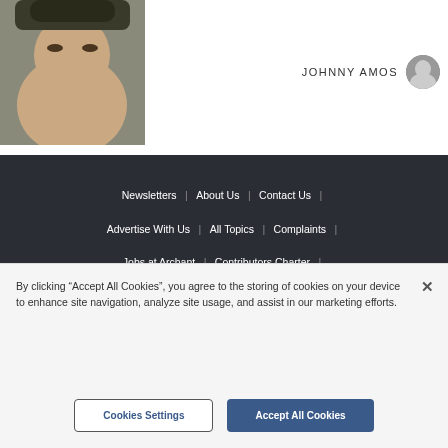[Figure (photo): Large cropped photo of a man wearing a cap, close-up portrait on left side of page top]
JOHNNY AMOS
[Figure (photo): Small circular avatar/headshot of a man]
Newsletters | About Us | Contact Us | Advertise With Us | All Topics | Complaints | Jobs at Archant | Contributors Charter | Cookie Policy | Privacy Policy | Terms & Conditions | Archant | Manage Cookies
By clicking “Accept All Cookies”, you agree to the storing of cookies on your device to enhance site navigation, analyze site usage, and assist in our marketing efforts.
Cookies Settings
Accept All Cookies